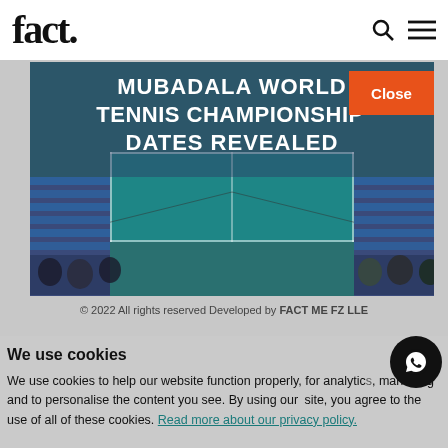fact.
[Figure (photo): Mubadala World Tennis Championship promotional image showing a tennis court with spectators seated in blue chairs, teal court visible, overlaid with large white text reading MUBADALA WORLD TENNIS CHAMPIONSHIP DATES REVEALED, and an orange Close button in the top-right corner]
© 2022 All rights reserved Developed by FACT ME FZ LLE
We use cookies
We use cookies to help our website function properly, for analytics, marketing and to personalise the content you see. By using our site, you agree to the use of all of these cookies. Read more about our privacy policy.